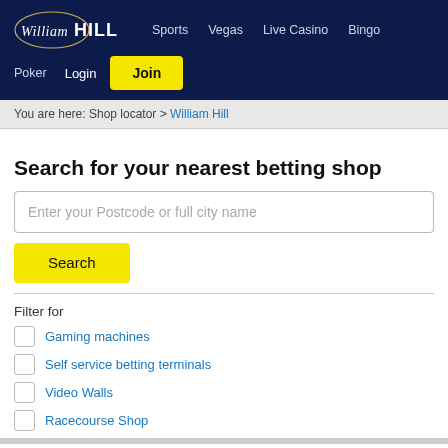William Hill — Sports | Vegas | Live Casino | Bingo | Poker — Login | Join
You are here: Shop locator > William Hill
Search for your nearest betting shop
Enter your Postcode or full city name
Search
Filter for
Gaming machines
Self service betting terminals
Video Walls
Racecourse Shop